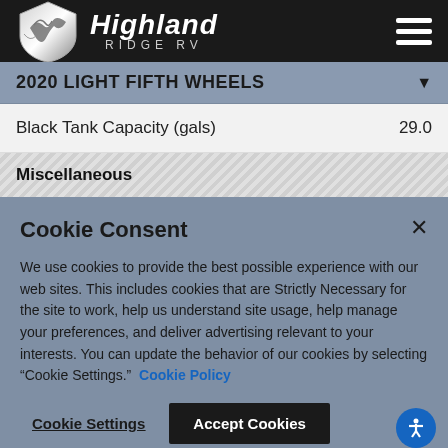Highland Ridge RV
2020 LIGHT FIFTH WHEELS
| Specification | Value |
| --- | --- |
| Black Tank Capacity (gals) | 29.0 |
Miscellaneous
Cookie Consent
We use cookies to provide the best possible experience with our web sites. This includes cookies that are Strictly Necessary for the site to work, help us understand site usage, help manage your preferences, and deliver advertising relevant to your interests. You can update the behavior of our cookies by selecting "Cookie Settings." Cookie Policy
Cookie Settings | Accept Cookies